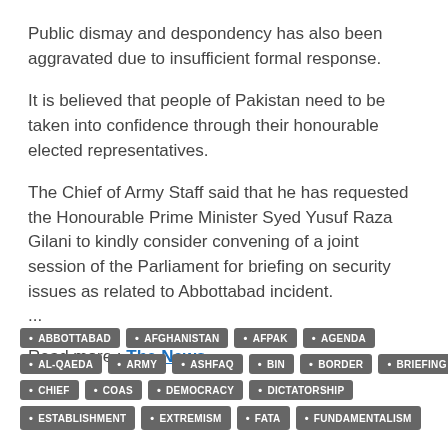Public dismay and despondency has also been aggravated due to insufficient formal response.
It is believed that people of Pakistan need to be taken into confidence through their honourable elected representatives.
The Chief of Army Staff said that he has requested the Honourable Prime Minister Syed Yusuf Raza Gilani to kindly consider convening of a joint session of the Parliament for briefing on security issues as related to Abbottabad incident.
...
Read more : The News
ABBOTTABAD
AFGHANISTAN
AFPAK
AGENDA
AL-QAEDA
ARMY
ASHFAQ
BIN
BORDER
BRIEFING
CHIEF
COAS
DEMOCRACY
DICTATORSHIP
ESTABLISHMENT
EXTREMISM
FATA
FUNDAMENTALISM